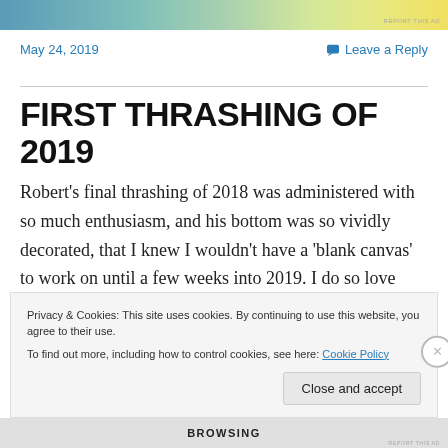[Figure (illustration): Top banner with teal-to-yellow gradient color strip, with 'REPORT THIS AD' text in small gray letters at bottom right]
May 24, 2019
💬 Leave a Reply
FIRST THRASHING OF 2019
Robert's final thrashing of 2018 was administered with so much enthusiasm, and his bottom was so vividly decorated, that I knew I wouldn't have a 'blank canvas' to work on until a few weeks into 2019. I do so love decorating an unblemished bare bottom, so sometimes I
Privacy & Cookies: This site uses cookies. By continuing to use this website, you agree to their use.
To find out more, including how to control cookies, see here: Cookie Policy
Close and accept
[Figure (other): Bottom bar with 'BROWSING' text and 'REPORT THIS AD' label]